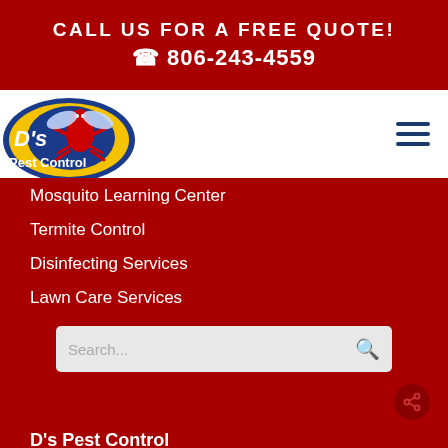CALL US FOR A FREE QUOTE! ☎ 806-243-4559
[Figure (logo): D's Pest Control logo with red cartoon bug/ant character on yellow oval with blue border and white text]
Mosquito Learning Center
Termite Control
Disinfecting Services
Lawn Care Services
D's Pest Control